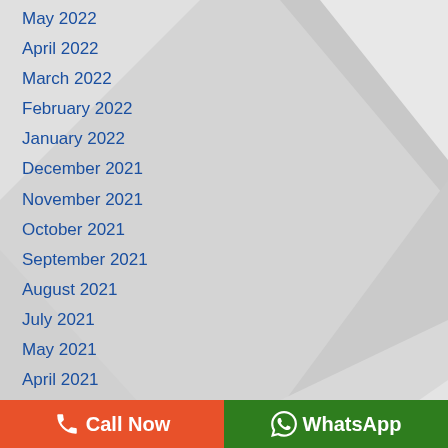May 2022
April 2022
March 2022
February 2022
January 2022
December 2021
November 2021
October 2021
September 2021
August 2021
July 2021
May 2021
April 2021
August 2020
☎ Call Now   WhatsApp